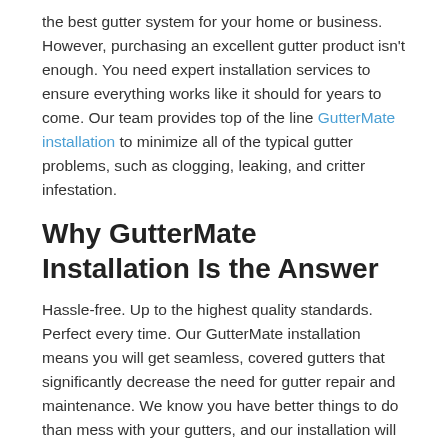the best gutter system for your home or business. However, purchasing an excellent gutter product isn't enough. You need expert installation services to ensure everything works like it should for years to come. Our team provides top of the line GutterMate installation to minimize all of the typical gutter problems, such as clogging, leaking, and critter infestation.
Why GutterMate Installation Is the Answer
Hassle-free. Up to the highest quality standards. Perfect every time. Our GutterMate installation means you will get seamless, covered gutters that significantly decrease the need for gutter repair and maintenance. We know you have better things to do than mess with your gutters, and our installation will save you both time and money in the long run.
When you choose installation from Peach State, you